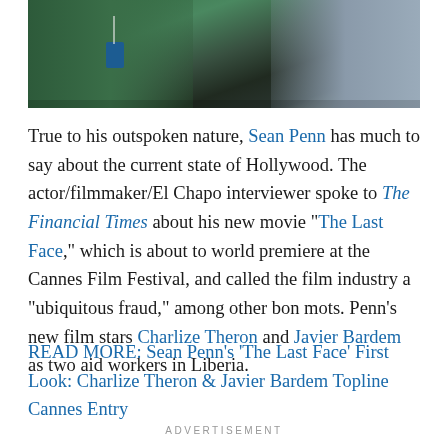[Figure (photo): Photo of people at what appears to be a film festival or event, cropped showing torsos and lower bodies, green clothing visible on the left, lighter clothing on the right]
True to his outspoken nature, Sean Penn has much to say about the current state of Hollywood. The actor/filmmaker/El Chapo interviewer spoke to The Financial Times about his new movie “The Last Face,” which is about to world premiere at the Cannes Film Festival, and called the film industry a “ubiquitous fraud,” among other bon mots. Penn’s new film stars Charlize Theron and Javier Bardem as two aid workers in Liberia.
READ MORE: Sean Penn’s ‘The Last Face’ First Look: Charlize Theron & Javier Bardem Topline Cannes Entry
ADVERTISEMENT